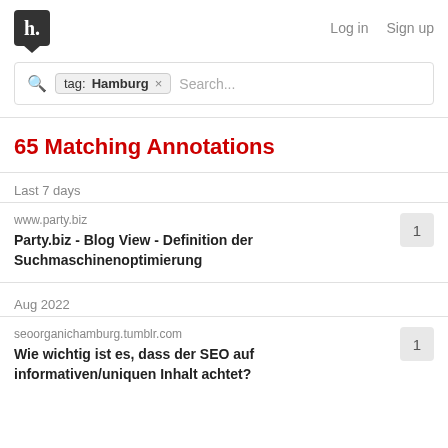h. Log in Sign up
tag: Hamburg × Search...
65 Matching Annotations
Last 7 days
www.party.biz
Party.biz - Blog View - Definition der Suchmaschinenoptimierung  1
Aug 2022
seoorganichamburg.tumblr.com
Wie wichtig ist es, dass der SEO auf informativen/uniquen Inhalt achtet?  1